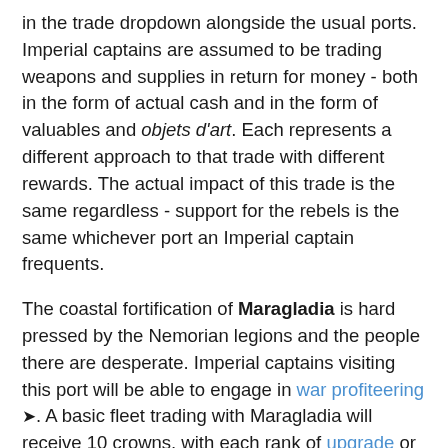in the trade dropdown alongside the usual ports. Imperial captains are assumed to be trading weapons and supplies in return for money - both in the form of actual cash and in the form of valuables and objets d'art. Each represents a different approach to that trade with different rewards. The actual impact of this trade is the same regardless - support for the rebels is the same whichever port an Imperial captain frequents.
The coastal fortification of Maragladia is hard pressed by the Nemorian legions and the people there are desperate. Imperial captains visiting this port will be able to engage in war profiteering. A basic fleet trading with Maragladia will receive 10 crowns, with each rank of upgrade or enchantment adding a further 40 rings to this amount.
Well behind the insurrectionist lines, the situation in the port of Timor is less fraught. Imperial captains visiting